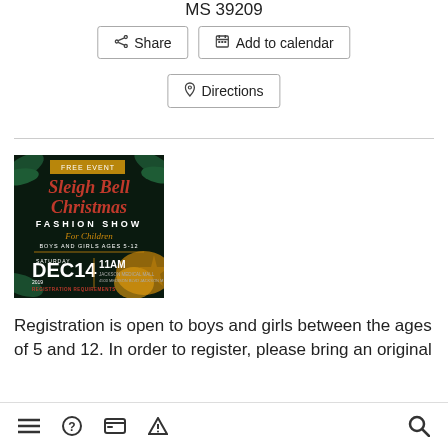MS 39209
Share
Add to calendar
Directions
[Figure (photo): Sleigh Bell Christmas Fashion Show promotional flyer for children, Saturday Dec 14 2019, 11AM, Jackson Medical Mall]
Registration is open to boys and girls between the ages of 5 and 12. In order to register, please bring an original